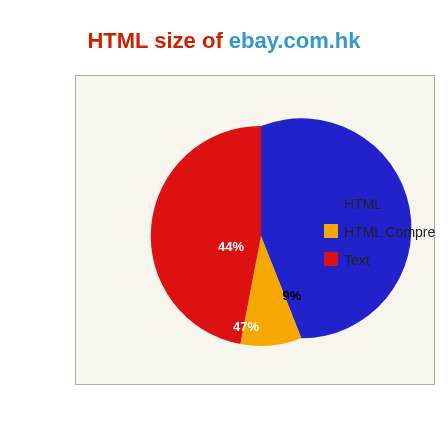HTML size of ebay.com.hk
[Figure (pie-chart): HTML size of ebay.com.hk]